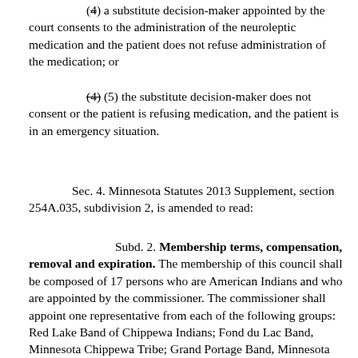(4) a substitute decision-maker appointed by the court consents to the administration of the neuroleptic medication and the patient does not refuse administration of the medication; or
(4) (5) the substitute decision-maker does not consent or the patient is refusing medication, and the patient is in an emergency situation.
Sec. 4. Minnesota Statutes 2013 Supplement, section 254A.035, subdivision 2, is amended to read:
Subd. 2. Membership terms, compensation, removal and expiration. The membership of this council shall be composed of 17 persons who are American Indians and who are appointed by the commissioner. The commissioner shall appoint one representative from each of the following groups: Red Lake Band of Chippewa Indians; Fond du Lac Band, Minnesota Chippewa Tribe; Grand Portage Band, Minnesota Chippewa Tribe; Leech Lake Band, Minnesota Chippewa Tribe; Mille Lacs Band, Minnesota Chippewa Tribe; Bois Forte Band, Minnesota Chippewa Tribe; White Earth Band, Minnesota Chippewa Tribe; Lower Sioux Indian Reservation; Prairie Island Sioux Indian